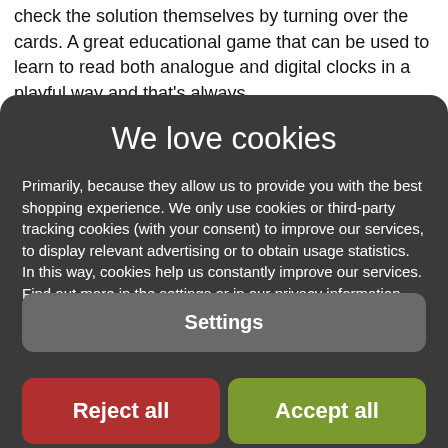check the solution themselves by turning over the cards. A great educational game that can be used to learn to read both analogue and digital clocks in a playful way and that's always
We love cookies
Primarily, because they allow us to provide you with the best shopping experience. We only use cookies or third-party tracking cookies (with your consent) to improve our services, to display relevant advertising or to obtain usage statistics. In this way, cookies help us constantly improve our services. Find out more in the settings or in our privacy information. Data protection information
Settings
Reject all
Accept all